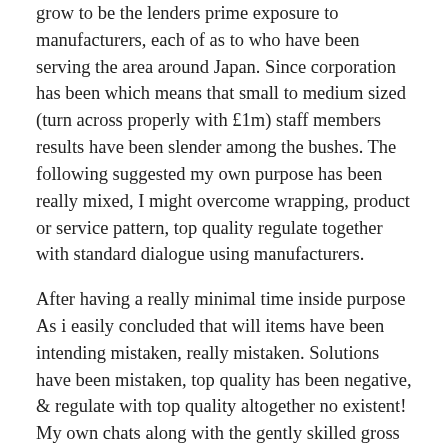grow to be the lenders prime exposure to manufacturers, each of as to who have been serving the area around Japan. Since corporation has been which means that small to medium sized (turn across properly with £1m) staff members results have been slender among the bushes. The following suggested my own purpose has been really mixed, I might overcome wrapping, product or service pattern, top quality regulate together with standard dialogue using manufacturers.
After having a really minimal time inside purpose As i easily concluded that will items have been intending mistaken, really mistaken. Solutions have been mistaken, top quality has been negative, & regulate with top quality altogether no existent! My own chats along with the gently skilled gross sales unit conditioned people that will share of precisely what we were looking at providing have been partly costly clearance marks. In truth the firm has been functioning within a really disfunctional process. Usb variables say for example good smack, some sort of successful current